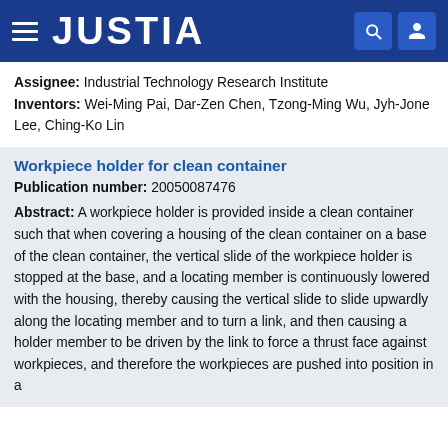JUSTIA
Assignee: Industrial Technology Research Institute
Inventors: Wei-Ming Pai, Dar-Zen Chen, Tzong-Ming Wu, Jyh-Jone Lee, Ching-Ko Lin
Workpiece holder for clean container
Publication number: 20050087476
Abstract: A workpiece holder is provided inside a clean container such that when covering a housing of the clean container on a base of the clean container, the vertical slide of the workpiece holder is stopped at the base, and a locating member is continuously lowered with the housing, thereby causing the vertical slide to slide upwardly along the locating member and to turn a link, and then causing a holder member to be driven by the link to force a thrust face against workpieces, and therefore the workpieces are pushed into position in a